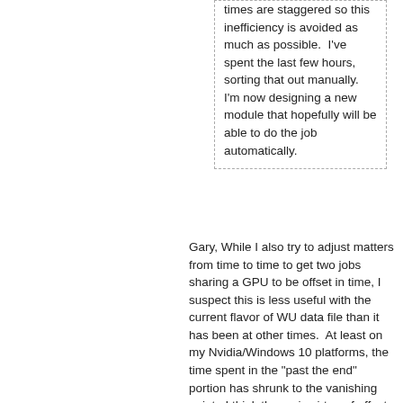times are staggered so this inefficiency is avoided as much as possible.  I've spent the last few hours, sorting that out manually.  I'm now designing a new module that hopefully will be able to do the job automatically.
Gary, While I also try to adjust matters from time to time to get two jobs sharing a GPU to be offset in time, I suspect this is less useful with the current flavor of WU data file than it has been at other times.  At least on my Nvidia/Windows 10 platforms, the time spent in the "past the end" portion has shrunk to the vanishing point.  I think the main virtue of offset times was allowing